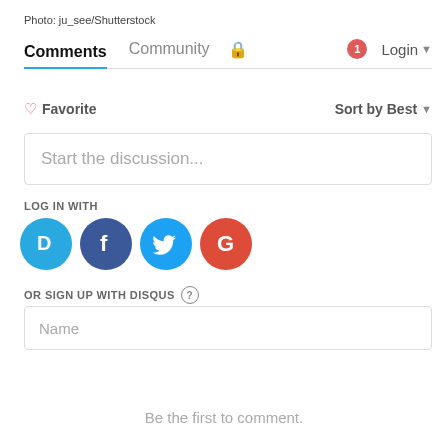Photo: ju_see/Shutterstock
Comments   Community   🔒   1   Login ▼
♡ Favorite   Sort by Best ▼
Start the discussion...
LOG IN WITH
[Figure (logo): Four social login icons: Disqus (blue circle with D), Facebook (dark blue circle with f), Twitter (light blue circle with bird), Google (red circle with G)]
OR SIGN UP WITH DISQUS ?
Name
Be the first to comment.